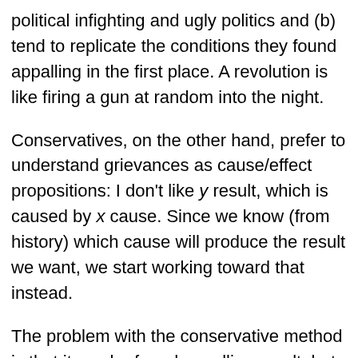political infighting and ugly politics and (b) tend to replicate the conditions they found appalling in the first place. A revolution is like firing a gun at random into the night.
Conservatives, on the other hand, prefer to understand grievances as cause/effect propositions: I don't like y result, which is caused by x cause. Since we know (from history) which cause will produce the result we want, we start working toward that instead.
The problem with the conservative method is that it can be found appalling result, but like...